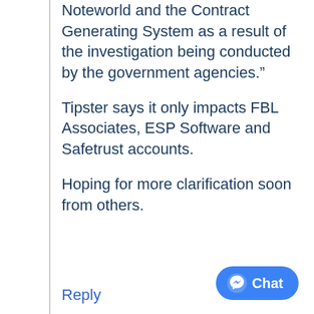Noteworld and the Contract Generating System as a result of the investigation being conducted by the government agencies.”
Tipster says it only impacts FBL Associates, ESP Software and Safetrust accounts.
Hoping for more clarification soon from others.
Reply
[Figure (other): Facebook Messenger Chat button (blue rounded pill button with Messenger icon and 'Chat' label)]